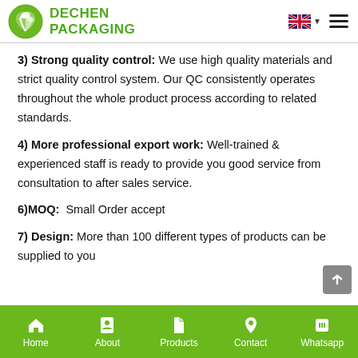DECHEN PACKAGING
3) Strong quality control: We use high quality materials and strict quality control system. Our QC consistently operates throughout the whole product process according to related standards.
4) More professional export work: Well-trained & experienced staff is ready to provide you good service from consultation to after sales service.
6)MOQ:  Small Order accept
7) Design: More than 100 different types of products can be supplied to you
Home | About | Products | Contact | Whatsapp